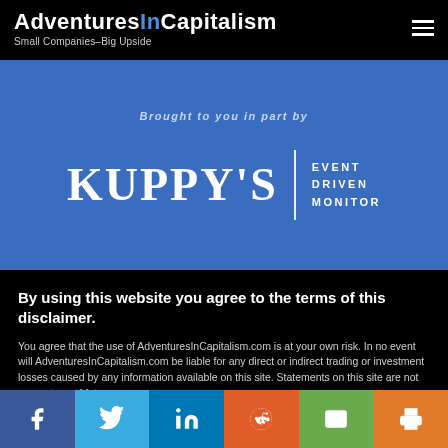AdventuresInCapitalism — Small Companies–Big Upside
Brought to you in part by
[Figure (logo): Kuppy's Event Driven Monitor logo — white serif text KUPPY'S with a vertical divider and EVENT DRIVEN MONITOR text on a blue background]
By using this website you agree to the terms of this disclaimer.
You agree that the use of AdventuresInCapitalism.com is at your own risk. In no event will AdventuresInCapitalism.com be liable for any direct or indirect trading or investment losses caused by any information available on this site. Statements on this site are not guarantees of future performance and are subject to risk, uncertainties and other
Social share buttons: Facebook, Twitter, LinkedIn, Reddit, Email, Print